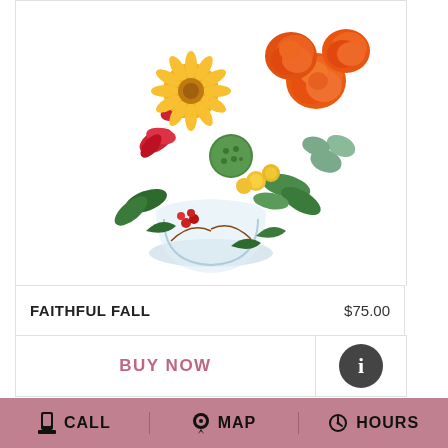[Figure (photo): Floral arrangement called Faithful Fall: orange roses, red alstroemeria, yellow gerbera daisies, green dianthus, and eucalyptus in a clear glass bowl vase, cropped at top.]
FAITHFUL FALL    $75.00
BUY NOW
[Figure (illustration): Info button: dark circle with white 'i' letter]
[Figure (photo): Second floral arrangement partially visible: orange ranunculus, yellow sunflowers, green ferns, and decorative elements in a fall harvest style arrangement.]
CALL   MAP   HOURS